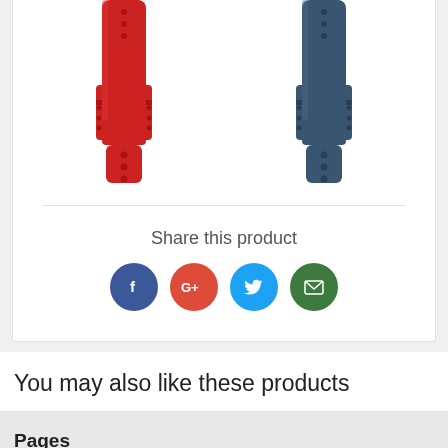[Figure (photo): Two smartwatch/fitness band straps side by side — one red on the left, one dark navy blue on the right — shown from the front with prong buckle style ends.]
Share this product
[Figure (infographic): Social sharing icons: Facebook (blue circle, f), Google+ (red circle, G+), Twitter (cyan circle, bird), Email (green circle, envelope)]
You may also like these products
Pages
About Us
Privacy Policy